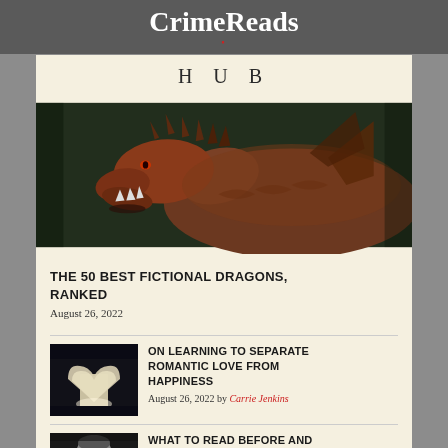CrimeReads
HUB
[Figure (photo): Fantasy art illustration of a large dragon with reddish-brown scales and spiky armor plating, shown in profile facing left with jaws slightly open, against a dark green forest background.]
THE 50 BEST FICTIONAL DRAGONS, RANKED
August 26, 2022
ON LEARNING TO SEPARATE ROMANTIC LOVE FROM HAPPINESS
August 26, 2022 by Carrie Jenkins
[Figure (photo): Close-up photo of an open book with pages folded into a heart shape, backlit with soft light, on a dark background.]
WHAT TO READ BEFORE AND AFTER SEEING LOVING
[Figure (photo): Black and white portrait photograph of a person looking slightly to the side, cropped at bottom of frame.]